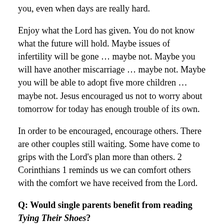you, even when days are really hard.
Enjoy what the Lord has given. You do not know what the future will hold. Maybe issues of infertility will be gone … maybe not. Maybe you will have another miscarriage … maybe not. Maybe you will be able to adopt five more children … maybe not. Jesus encouraged us not to worry about tomorrow for today has enough trouble of its own.
In order to be encouraged, encourage others. There are other couples still waiting. Some have come to grips with the Lord's plan more than others. 2 Corinthians 1 reminds us we can comfort others with the comfort we have received from the Lord.
Q: Would single parents benefit from reading Tying Their Shoes?